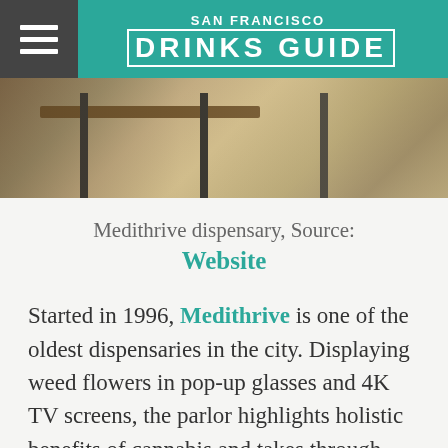SAN FRANCISCO DRINKS GUIDE
[Figure (photo): Interior of Medithrive dispensary showing wooden shelving with products, dark metal poles/barriers, polished concrete floor]
Medithrive dispensary, Source: Website
Started in 1996, Medithrive is one of the oldest dispensaries in the city. Displaying weed flowers in pop-up glasses and 4K TV screens, the parlor highlights holistic benefits of cannabis and takes through their customers in